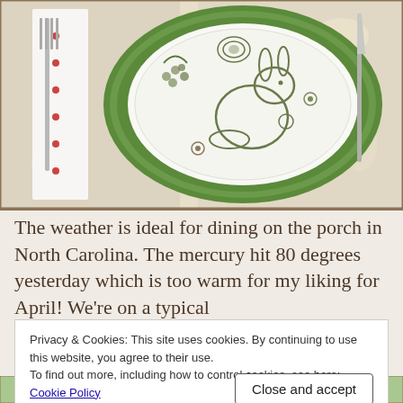[Figure (photo): A decorative Easter table setting with a white plate featuring a green toile bunny and floral design, placed on a ruffled green charger plate. A silver fork rests on a white napkin with red polka dots to the left, and a knife is visible to the right. Floral fabric is visible in the background.]
The weather is ideal for dining on the porch in North Carolina. The mercury hit 80 degrees yesterday which is too warm for my liking for April! We’re on a typical
Privacy & Cookies: This site uses cookies. By continuing to use this website, you agree to their use.
To find out more, including how to control cookies, see here:
Cookie Policy
Close and accept
[Figure (photo): Partial view of floral arrangement at bottom of page, green tones visible.]